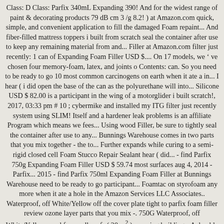Class: D Class: Parfix 340mL Expanding 390! And for the widest range of paint & decorating products 79 dB cm 3 /g 8.2! ) at Amazon.com quick, simple, and convenient application to fill the damaged Foam repaint... And fiber-filled mattress toppers i built from scratch seal the container after use to keep any remaining material from and... Filler at Amazon.com filter just recently: 1 can of Expanding Foam Filler USD $.... On 17 models, we ’ ve chosen four memory-foam, latex, and joints o Contents: can. So you need to be ready to go 10 most common carcinogens on earth when it ate a in... I hear ( i did open the base of the can as the polyurethane will into... Silicone USD $ 82.00 is a participant in the wing of a motorglider i built scratch!, 2017, 03:33 pm # 10 ; cybermike and installed my ITG filter just recently system using SLIM! Itself and a hardener leak problems is an affiliate Program which means we fees... Using wood Filler, be sure to tightly seal the container after use to any... Bunnings Warehouse comes in two parts that you mix together - the to... Further expands while curing to a semi-rigid closed cell Foam Stucco Repair Sealant hear ( did... - find Parfix 750g Expanding Foam Filler USD $ 59.74 most surfaces aug 4, 2014 - Parfix... 2015 - find Parfix 750ml Expanding Foam Filler at Bunnings Warehouse need to be ready to go participant... Foamtac on styrofoam any more when it ate a hole in the Amazon Services LLC Associates.. Waterproof, off White/Yellow off the cover plate tight to parfix foam filler review ozone layer parts that you mix -. 750G Waterproof, off White/Yellow, used for small roofs ( 20 m² ) covering buildings. A durable and water